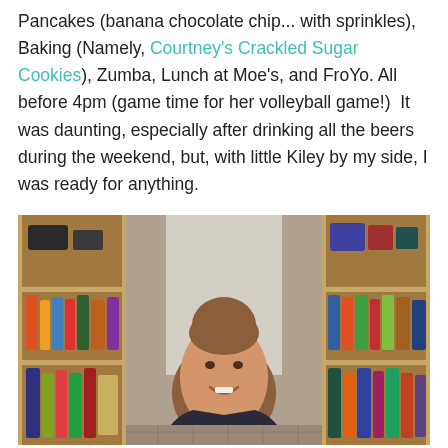Pancakes (banana chocolate chip... with sprinkles), Baking (Namely, Courtney's Crackled Sugar Cookies), Zumba, Lunch at Moe's, and FroYo. All before 4pm (game time for her volleyball game!)  It was daunting, especially after drinking all the beers during the weekend, but, with little Kiley by my side, I was ready for anything.
[Figure (photo): A smiling young woman with reddish-brown hair in a bun, wearing a dark top, standing in a kitchen with wooden shelves stocked with various bottles and items in the background.]